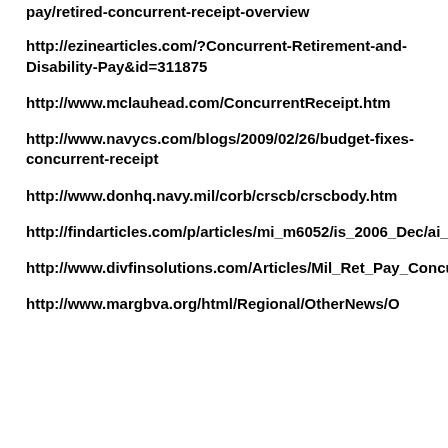pay/retired-concurrent-receipt-overview
http://ezinearticles.com/?Concurrent-Retirement-and-Disability-Pay&id=311875
http://www.mclauhead.com/ConcurrentReceipt.htm
http://www.navycs.com/blogs/2009/02/26/budget-fixes-concurrent-receipt
http://www.donhq.navy.mil/corb/crscb/crscbody.htm
http://findarticles.com/p/articles/mi_m6052/is_2006_Dec/ai_n27100667/pg_11/
http://www.divfinsolutions.com/Articles/Mil_Ret_Pay_Concur_Receipt.pdf
http://www.margbva.org/html/Regional/OtherNews/O